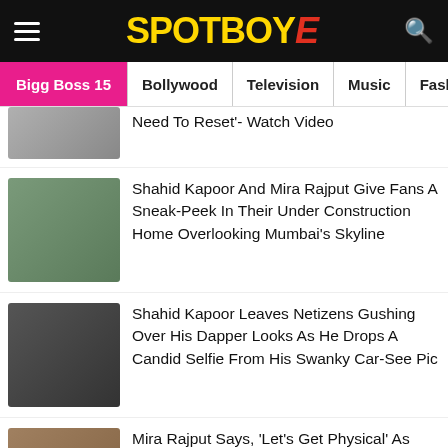SPOTBOYE
Bigg Boss 15 | Bollywood | Television | Music | Fashion
Need To Reset'- Watch Video
Shahid Kapoor And Mira Rajput Give Fans A Sneak-Peek In Their Under Construction Home Overlooking Mumbai's Skyline
Shahid Kapoor Leaves Netizens Gushing Over His Dapper Looks As He Drops A Candid Selfie From His Swanky Car-See Pic
Mira Rajput Says, 'Let's Get Physical' As She Shares A Sneak Peek Into Her Intense Workout Session
Shahid Kapoor's Wife Mira Rajput Just